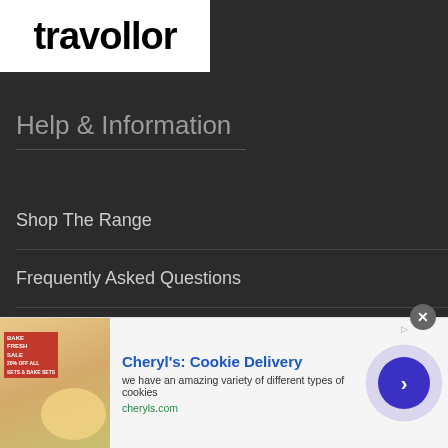[Figure (logo): Traveller logo in black bold text on white background]
Help & Information
Shop The Range
Frequently Asked Questions
Ellis James Family Babes
Contact Us
[Figure (screenshot): Advertisement banner for Cheryl's Cookie Delivery featuring cookie image, title, description 'we have an amazing variety of different types of cookies', URL cheryls.com, and navigation arrow button]